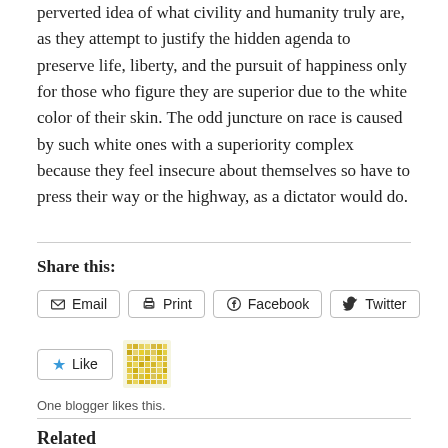perverted idea of what civility and humanity truly are, as they attempt to justify the hidden agenda to preserve life, liberty, and the pursuit of happiness only for those who figure they are superior due to the white color of their skin. The odd juncture on race is caused by such white ones with a superiority complex because they feel insecure about themselves so have to press their way or the highway, as a dictator would do.
Share this:
Email | Print | Facebook | Twitter
Like | [blogger avatar]
One blogger likes this.
Related